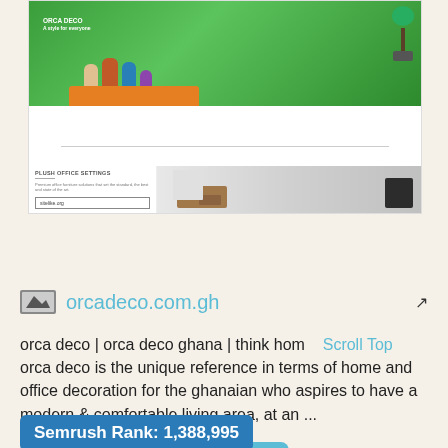[Figure (screenshot): Screenshot of orcadeco.com.gh website showing a promotional banner with people on orange sofas against a green background, and an office furniture advertisement below]
[Figure (screenshot): Like button showing a heart icon with text 'Like' and count '0', styled in teal/blue rounded rectangle]
orcadeco.com.gh
orca deco | orca deco ghana | think hom   Scroll Top
orca deco is the unique reference in terms of home and office decoration for the ghanaian who aspires to have a modern & comfortable living area, at an ...
Semrush Rank: 1,388,995